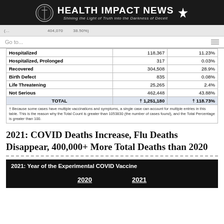HEALTH IMPACT NEWS — Shining the Light of Truth into the Darkness of Deceit
Go to...
|  | Count | Percentage |
| --- | --- | --- |
| Hospitalized | 118,367 | 11.23% |
| Hospitalized, Prolonged | 317 | 0.03% |
| Recovered | 304,508 | 28.9% |
| Birth Defect | 835 | 0.08% |
| Life Threatening | 25,265 | 2.4% |
| Not Serious | 462,448 | 43.88% |
| TOTAL | † 1,251,180 | † 118.73% |
† Because some cases have multiple vaccinations and symptoms, a single case can account for multiple entries in this table. This is the reason why the Total Count is greater than 1053830 (the number of cases found), and the Total Percentage is greater than 100.
2021: COVID Deaths Increase, Flu Deaths Disappear, 400,000+ More Total Deaths than 2020
[Figure (infographic): Black banner reading '2021: Year of the Experimental COVID Vaccine' with column headers '2020' and '2021' in bold underlined white text]